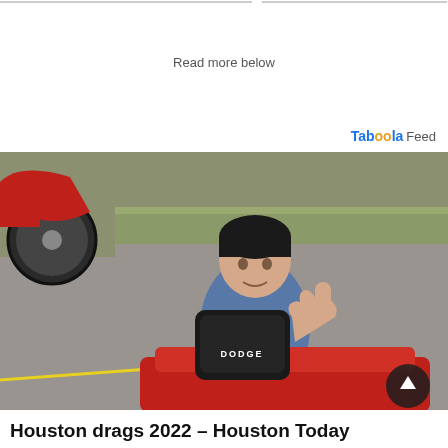Read more below
Taboola Feed
[Figure (photo): A young boy with dark hair giving a thumbs up while sitting in a red ride-on toy car labeled DODGE on a gravel/grass area. A partial view of a red motorcycle is visible in the upper left corner. A yellow line is visible in the lower portion of the image. A dark round scroll-up button is visible in the lower right.]
Houston drags 2022 – Houston Today